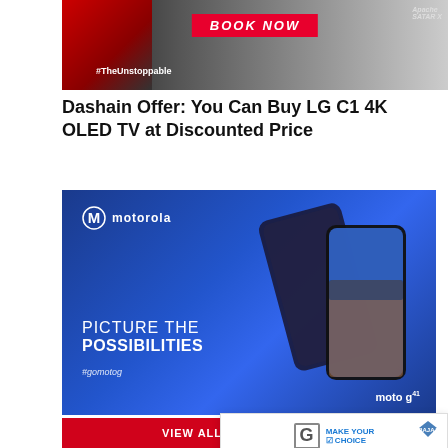[Figure (photo): TVS Apache motorcycle advertisement banner with 'BOOK NOW' button in red, '#TheUnstoppable' hashtag on dark background]
Dashain Offer: You Can Buy LG C1 4K OLED TV at Discounted Price
[Figure (photo): Motorola Moto G smartphone advertisement with blue gradient background, two phones shown, text reads 'PICTURE THE POSSIBILITIES #gomotoG moto g']
Motorola [partially obscured by ad] ched in Nepal
[Figure (photo): Bajaj Bikes popup advertisement: 'MAKE YOUR CHOICE - GET BAJAJ BIKES @ LOWEST DOWNPAYMENT* OR' with Bajaj logo and motorcycle image]
VIEW ALL LATEST POSTS ▶